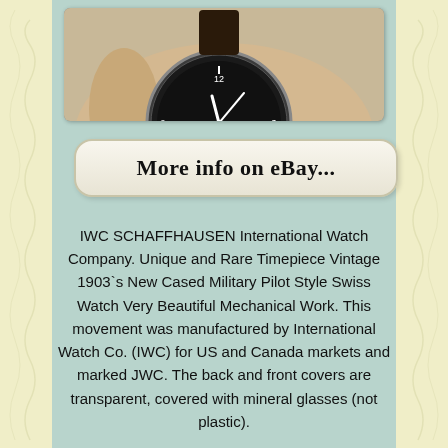[Figure (photo): A wrist wearing a dark-dialed IWC pilot style watch with a black leather strap, photographed against a light background. The watch has a round black dial with white numerals and hands. An eBay watermark appears at the bottom of the image.]
More info on eBay...
IWC SCHAFFHAUSEN International Watch Company. Unique and Rare Timepiece Vintage 1903`s New Cased Military Pilot Style Swiss Watch Very Beautiful Mechanical Work. This movement was manufactured by International Watch Co. (IWC) for US and Canada markets and marked JWC. The back and front covers are transparent, covered with mineral glasses (not plastic).